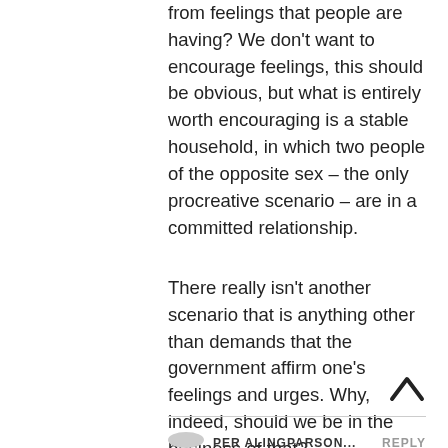from feelings that people are having? We don't want to encourage feelings, this should be obvious, but what is entirely worth encouraging is a stable household, in which two people of the opposite sex – the only procreative scenario – are in a committed relationship.
There really isn't another scenario that is anything other than demands that the government affirm one's feelings and urges. Why, indeed, should we be in the business of that?
[Figure (other): Upward chevron/caret arrow icon for scrolling up]